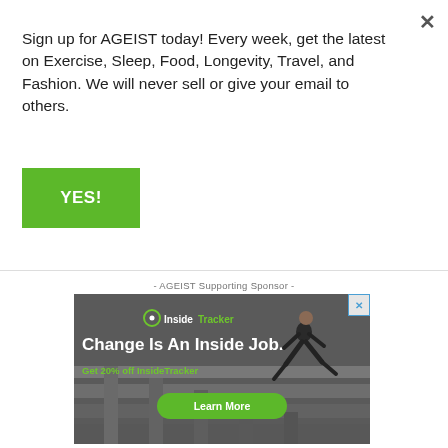Sign up for AGEIST today! Every week, get the latest on Exercise, Sleep, Food, Longevity, Travel, and Fashion. We will never sell or give your email to others.
YES!
- AGEIST Supporting Sponsor -
[Figure (illustration): InsideTracker advertisement showing a man running up stairs with text 'Change Is An Inside Job.' and 'Get 20% off InsideTracker' with a 'Learn More' green button.]